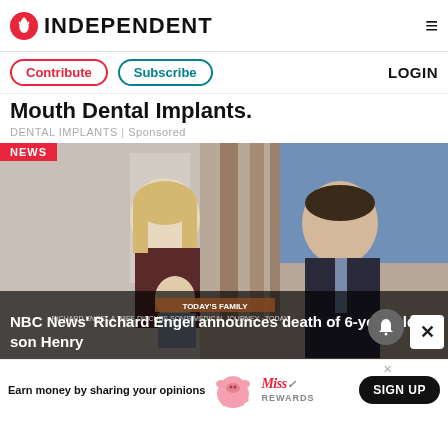INDEPENDENT
Contribute | Subscribe | LOGIN
Mouth Dental Implants.
DENTAL IMPLANTS | Sponsored
[Figure (photo): TV studio screenshot showing a woman with a young child and a man in a suit, from a Today Show family segment. NEWS badge in top left. Headline overlay: NBC News' Richard Engel announces death of 6-year-old son Henry]
NBC News' Richard Engel announces death of 6-year-old son Henry
[Figure (infographic): Advertisement banner: Earn money by sharing your opinions. Miss Rewards logo with pig illustration. SIGN UP button.]